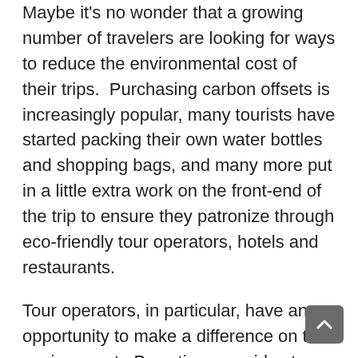Maybe it's no wonder that a growing number of travelers are looking for ways to reduce the environmental cost of their trips.  Purchasing carbon offsets is increasingly popular, many tourists have started packing their own water bottles and shopping bags, and many more put in a little extra work on the front-end of the trip to ensure they patronize through eco-friendly tour operators, hotels and restaurants.
Tour operators, in particular, have an opportunity to make a difference on the environment.  By acting as guides to a destination, these companies are in a position to lead the way in regards to environmental best practices.  Fortunately, many companies around the world have adopted eco-